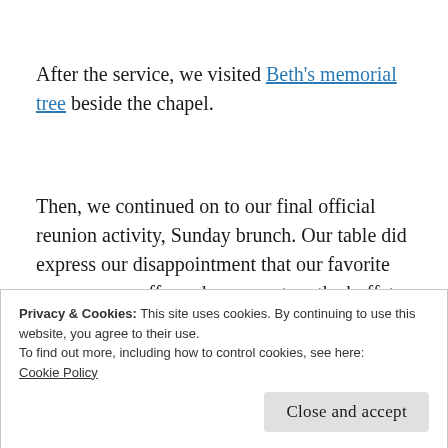After the service, we visited Beth's memorial tree beside the chapel.
Then, we continued on to our final official reunion activity, Sunday brunch. Our table did express our disappointment that our favorite sour cream coffee cake was not on the buffet.
Privacy & Cookies: This site uses cookies. By continuing to use this website, you agree to their use.
To find out more, including how to control cookies, see here: Cookie Policy